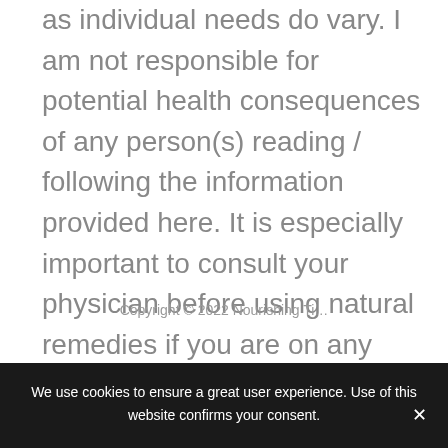as individual needs do vary. I am not responsible for potential health consequences of any person(s) reading / following the information provided here. It is especially important to consult your physician before using natural remedies if you are on any kind of OTC or prescription drug regimen.
Copyright © 2022 Nourishing Ti…
We use cookies to ensure a great user experience. Use of this website confirms your consent.